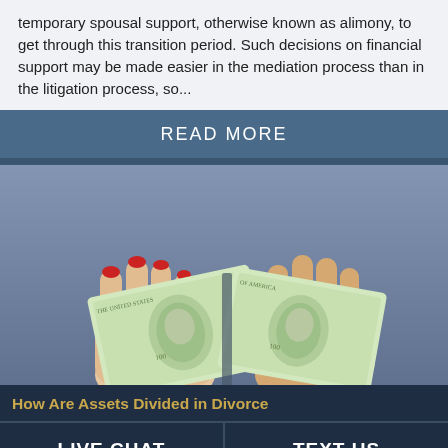temporary spousal support, otherwise known as alimony, to get through this transition period. Such decisions on financial support may be made easier in the mediation process than in the litigation process, so...
READ MORE
[Figure (photo): Two hands tearing a $100 bill apart — one hand with red fingernails on the left, and another hand on the right — symbolizing asset division in divorce.]
How Are Assets Divided in Divorce
LIVE CHAT
TEXT US